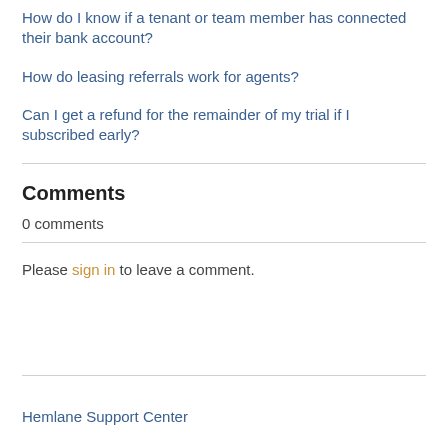How do I know if a tenant or team member has connected their bank account?
How do leasing referrals work for agents?
Can I get a refund for the remainder of my trial if I subscribed early?
Comments
0 comments
Please sign in to leave a comment.
Hemlane Support Center